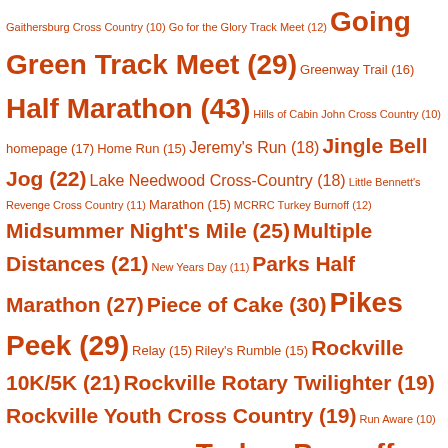Gaithersburg Cross Country (10) Go for the Glory Track Meet (12) Going Green Track Meet (29) Greenway Trail (16) Half Marathon (43) Hills of Cabin John Cross Country (10) homepage (17) Home Run (15) Jeremy's Run (18) Jingle Bell Jog (22) Lake Needwood Cross-Country (18) Little Bennett's Revenge Cross Country (11) Marathon (15) MCRRC Turkey Burnoff (12) Midsummer Night's Mile (25) Multiple Distances (21) New Years Day (11) Parks Half Marathon (27) Piece of Cake (30) Pikes Peek (29) Relay (15) Riley's Rumble (15) Rockville 10K/5K (21) Rockville Rotary Twilighter (19) Rockville Youth Cross Country (19) Run Aware (10) Run for Roses (23) Turkey Burnoff (34) YMCA Turkey Chase (10)
STAY INFORMED
Via Email: groups.mcrrc.org
Via News: Ins & Outs | Intervals
Via Social:
[Figure (other): Social media icons: RSS feed, Facebook, Twitter, Instagram]